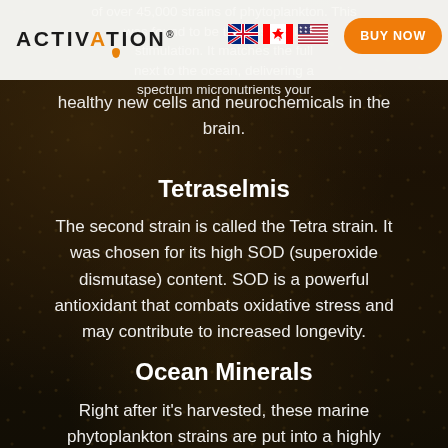ACTIVATION logo with flags and BUY NOW button
healthy new cells and neurochemicals in the brain.
Tetraselmis
The second strain is called the Tetra strain. It was chosen for its high SOD (superoxide dismutase) content. SOD is a powerful antioxidant that combats oxidative stress and may contribute to increased longevity.
Ocean Minerals
Right after it's harvested, these marine phytoplankton strains are put into a highly